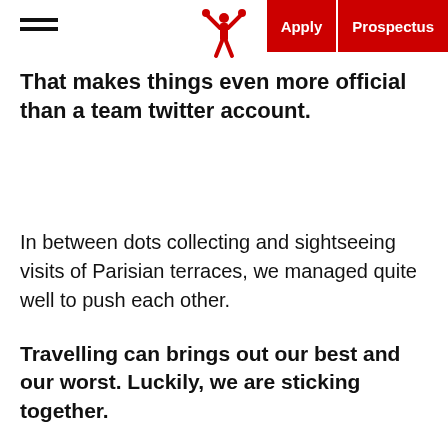Apply | Prospectus
That makes things even more official than a team twitter account.
In between dots collecting and sightseeing visits of Parisian terraces, we managed quite well to push each other.
Travelling can brings out our best and our worst. Luckily, we are sticking together.